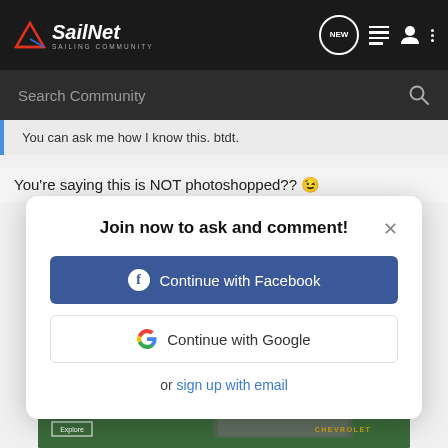SailNet - SAILING COMMUNITY
Search Community
You can ask me how I know this. btdt.
You're saying this is NOT photoshopped?? 😉
Join now to ask and comment!
Continue with Facebook
Continue with Google
or sign up with email
[Figure (screenshot): Chevrolet - THE NEW 2022 SILVERADO. advertisement banner with Explore button and Chevrolet logo]